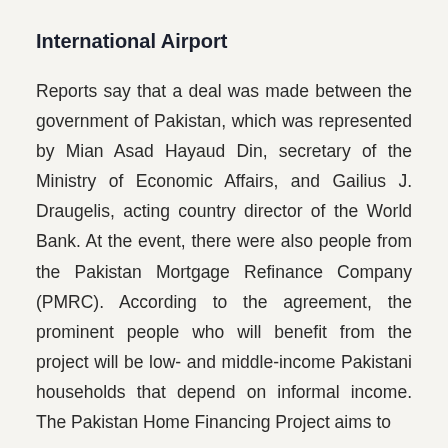International Airport
Reports say that a deal was made between the government of Pakistan, which was represented by Mian Asad Hayaud Din, secretary of the Ministry of Economic Affairs, and Gailius J. Draugelis, acting country director of the World Bank. At the event, there were also people from the Pakistan Mortgage Refinance Company (PMRC). According to the agreement, the prominent people who will benefit from the project will be low- and middle-income Pakistani households that depend on informal income. The Pakistan Home Financing Project aims to